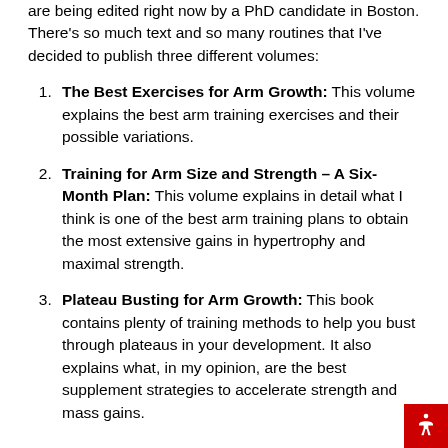are being edited right now by a PhD candidate in Boston. There's so much text and so many routines that I've decided to publish three different volumes:
The Best Exercises for Arm Growth: This volume explains the best arm training exercises and their possible variations.
Training for Arm Size and Strength – A Six-Month Plan: This volume explains in detail what I think is one of the best arm training plans to obtain the most extensive gains in hypertrophy and maximal strength.
Plateau Busting for Arm Growth: This book contains plenty of training methods to help you bust through plateaus in your development. It also explains what, in my opinion, are the best supplement strategies to accelerate strength and mass gains.